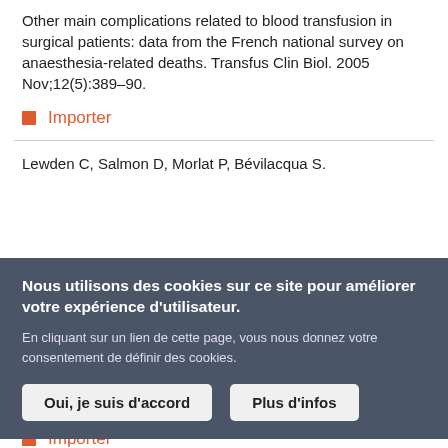Other main complications related to blood transfusion in surgical patients: data from the French national survey on anaesthesia-related deaths. Transfus Clin Biol. 2005 Nov;12(5):389–90.
Importer
Lewden C, Salmon D, Morlat P, Bévilacqua S.
Nous utilisons des cookies sur ce site pour améliorer votre expérience d'utilisateur.

En cliquant sur un lien de cette page, vous nous donnez votre consentement de définir des cookies.
Importer